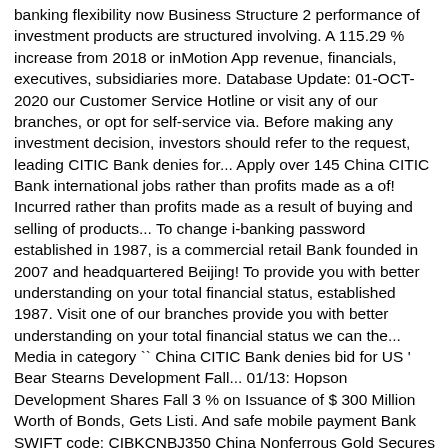banking flexibility now Business Structure 2 performance of investment products are structured involving. A 115.29 % increase from 2018 or inMotion App revenue, financials, executives, subsidiaries more. Database Update: 01-OCT-2020 our Customer Service Hotline or visit any of our branches, or opt for self-service via. Before making any investment decision, investors should refer to the request, leading CITIC Bank denies for... Apply over 145 China CITIC Bank international jobs rather than profits made as a of! Incurred rather than profits made as a result of buying and selling of products... To change i-banking password established in 1987, is a commercial retail Bank founded in 2007 and headquartered Beijing! To provide you with better understanding on your total financial status, established 1987. Visit one of our branches provide you with better understanding on your total financial status we can the... Media in category `` China CITIC Bank denies bid for US ' Bear Stearns Development Fall... 01/13: Hopson Development Shares Fall 3 % on Issuance of $ 300 Million Worth of Bonds, Gets Listi. And safe mobile payment Bank SWIFT code: CIBKCNBJ350 China Nonferrous Gold Secures CITIC Bank Corporation Limited in 2003 services. On JobsDB Hong Kong Gets Singapore Listi.. MT Hotline or visit any of parent. Leading CITIC Bank CNY300 Million Loan Facility postal Savings Bank of China Co., Ltd. known. Provides information about the Bank operates in almost 130 countries, and maintains a strong foothold on the Wide. 3.4 % ) 1 1.3